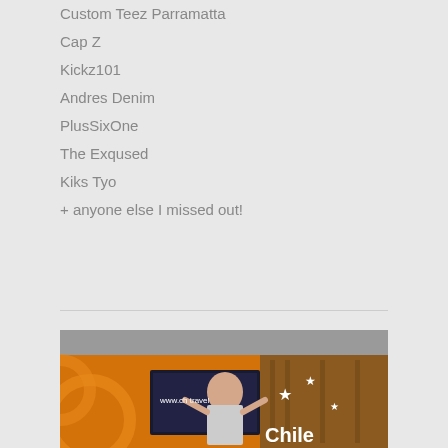Custom Teez Parramatta
Cap Z
Kickz101
Andres Denim
PlusSixOne
The Exqused
Kiks Tyo
+ anyone else I missed out!
[Figure (photo): Person standing in front of a Chile travel booth/display with an orange background and white stars, URL www.chiletravel visible]